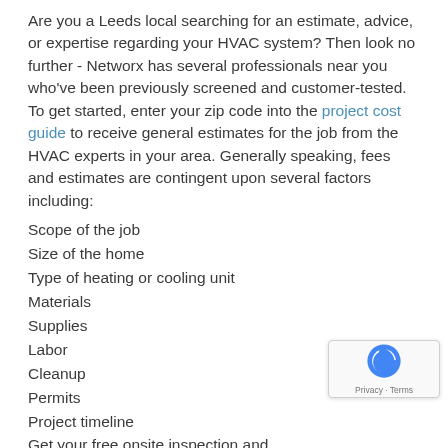Are you a Leeds local searching for an estimate, advice, or expertise regarding your HVAC system? Then look no further - Networx has several professionals near you who've been previously screened and customer-tested. To get started, enter your zip code into the project cost guide to receive general estimates for the job from the HVAC experts in your area. Generally speaking, fees and estimates are contingent upon several factors including:
Scope of the job
Size of the home
Type of heating or cooling unit
Materials
Supplies
Labor
Cleanup
Permits
Project timeline
Get your free onsite inspection and estimate today.
Get Your HVAC Project Moving with a Leeds Pro
There's no need to drag your feet any longer. There's no